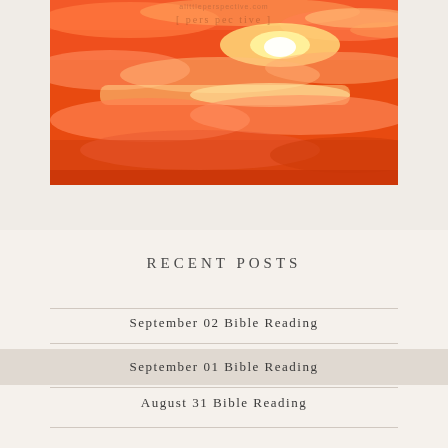[Figure (photo): Sunset sky photo with orange and red hues, bright sun partially obscured by clouds, watermark text 'alittleperspective.com' and logo visible at top]
RECENT POSTS
September 02 Bible Reading
September 01 Bible Reading
August 31 Bible Reading